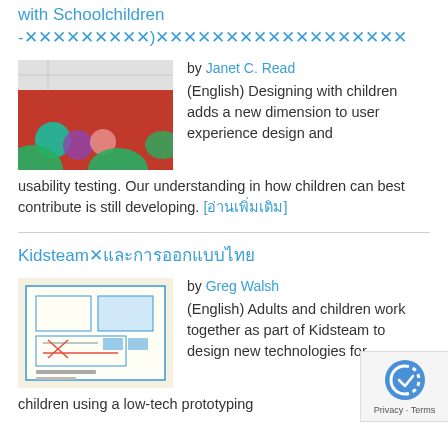with Schoolchildren -×××××××××)××××××××××××××××××
[Figure (photo): Photo of children's craft materials on a red surface with teal/purple shapes]
by Janet C. Read
(English) Designing with children adds a new dimension to user experience design and usability testing. Our understanding in how children can best contribute is still developing. [อ่านเพิ่มเติม]
Kidsteam×และการออกแบบไทย
[Figure (photo): Photo of a child's hand-drawn design/prototype on paper with blue pen drawings]
by Greg Walsh
(English) Adults and children work together as part of Kidsteam to design new technologies for children using a low-tech prototyping